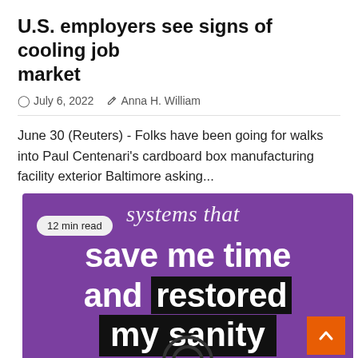U.S. employers see signs of cooling job market
July 6, 2022   Anna H. William
June 30 (Reuters) - Folks have been going for walks into Paul Centenari's cardboard box manufacturing facility exterior Baltimore asking...
[Figure (illustration): Purple banner image with text: 'systems that save me time and restored my sanity'. Contains a '12 min read' badge on the left, white bold text on purple background, 'restored' in a black highlight box, 'my sanity' in a black box, and an orange scroll-to-top button in the bottom right corner.]